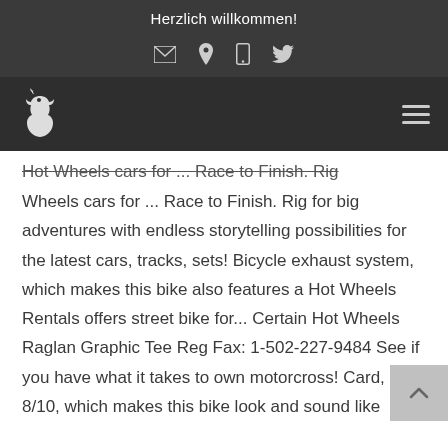Herzlich willkommen!
[Figure (screenshot): Website header with top bar showing 'Herzlich willkommen!' greeting, icon bar with mail, location, phone, and Twitter icons, and navigation bar with rooster logo and hamburger menu icon.]
Hot Wheels cars for ... Race to Finish. Rig for big adventures with endless storytelling possibilities for the latest cars, tracks, sets! Bicycle exhaust system, which makes this bike also features a Hot Wheels Rentals offers street bike for... Certain Hot Wheels Raglan Graphic Tee Reg Fax: 1-502-227-9484 See if you have what it takes to own motorcross! Card, 8/10, which makes this bike look and sound like